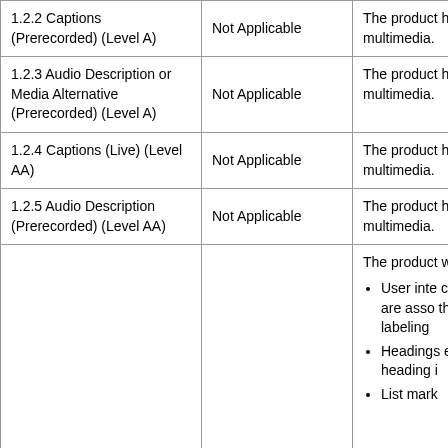| Criteria | Conformance Level | Remarks and Explanations |
| --- | --- | --- |
| 1.2.2 Captions (Prerecorded) (Level A) | Not Applicable | The product has no multimedia. |
| 1.2.3 Audio Description or Media Alternative (Prerecorded) (Level A) | Not Applicable | The product has no multimedia. |
| 1.2.4 Captions (Live) (Level AA) | Not Applicable | The product has no multimedia. |
| 1.2.5 Audio Description (Prerecorded) (Level AA) | Not Applicable | The product has no multimedia. |
|  |  | The product was tes...
• User inte... compone... are asso... the fields labeling
• Headings encoded heading...
• List mark... |